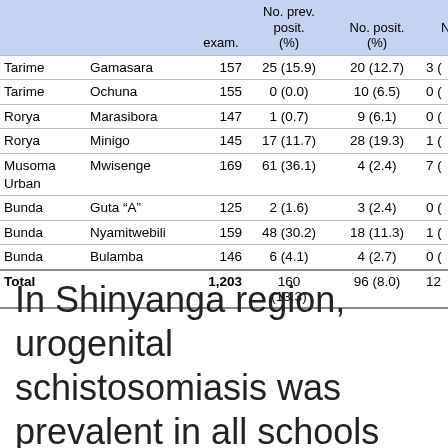| District | School | No. exam. | No. prev. posit. (%) | No. posit. (%) | No. ( |
| --- | --- | --- | --- | --- | --- |
| Tarime | Gamasara | 157 | 25 (15.9) | 20 (12.7) | 3 ( |
| Tarime | Ochuna | 155 | 0 (0.0) | 10 (6.5) | 0 ( |
| Rorya | Marasibora | 147 | 1 (0.7) | 9 (6.1) | 0 ( |
| Rorya | Minigo | 145 | 17 (11.7) | 28 (19.3) | 1 ( |
| Musoma Urban | Mwisenge | 169 | 61 (36.1) | 4 (2.4) | 7 ( |
| Bunda | Guta “A” | 125 | 2 (1.6) | 3 (2.4) | 0 ( |
| Bunda | Nyamitwebili | 159 | 48 (30.2) | 18 (11.3) | 1 ( |
| Bunda | Bulamba | 146 | 6 (4.1) | 4 (2.7) | 0 ( |
| Total |  | 1,203 | 160 (13.3) | 96 (8.0) | 12 |
In Shinyanga region, urogenital schistosomiasis was prevalent in all schools studied (Table 5). The highest